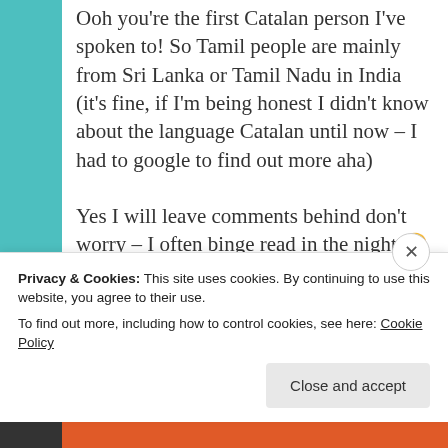Ooh you're the first Catalan person I've spoken to! So Tamil people are mainly from Sri Lanka or Tamil Nadu in India (it's fine, if I'm being honest I didn't know about the language Catalan until now – I had to google to find out more aha)
Yes I will leave comments behind don't worry – I often binge read in the night 😂
I love your name! I forgot to
Privacy & Cookies: This site uses cookies. By continuing to use this website, you agree to their use.
To find out more, including how to control cookies, see here: Cookie Policy